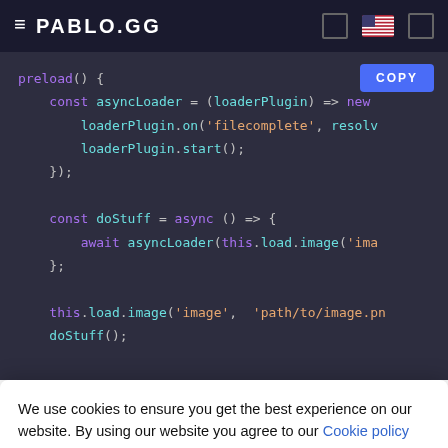PABLOGG (navigation bar with hamburger menu, brand logo, and icons)
[Figure (screenshot): Dark-themed code editor showing JavaScript preload function with asyncLoader, loaderPlugin event handling, doStuff async arrow function with await, and this.load.image calls. A blue COPY button is in the top right.]
We use cookies to ensure you get the best experience on our website. By using our website you agree to our Cookie policy
GOT IT!